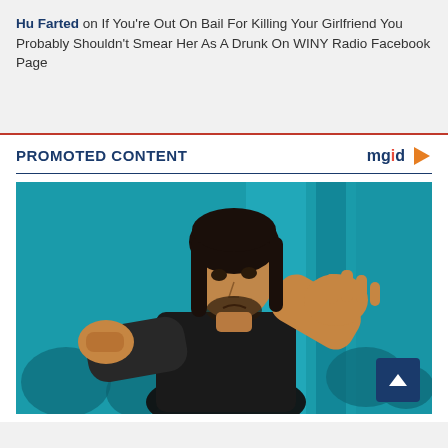Hu Farted on If You're Out On Bail For Killing Your Girlfriend You Probably Shouldn't Smear Her As A Drunk On WINY Radio Facebook Page
[Figure (screenshot): Screenshot of a webpage showing a promoted content section with the mgid logo, and a movie scene image of a man with dark long hair in a fighting stance against a teal/blue background]
PROMOTED CONTENT